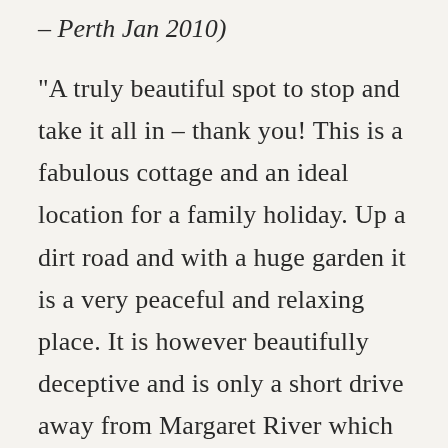– Perth Jan 2010)
“A truly beautiful spot to stop and take it all in – thank you! This is a fabulous cottage and an ideal location for a family holiday. Up a dirt road and with a huge garden it is a very peaceful and relaxing place. It is however beautifully deceptive and is only a short drive away from Margaret River which allows you to enjoy any of the numerous other attractions the region has to offer